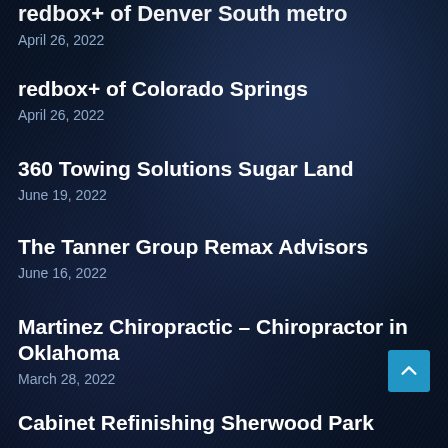redbox+ of Denver South metro
April 26, 2022
redbox+ of Colorado Springs
April 26, 2022
360 Towing Solutions Sugar Land
June 19, 2022
The Tanner Group Remax Advisors
June 16, 2022
Martinez Chiropractic – Chiropractor in Oklahoma
March 28, 2022
Cabinet Refinishing Sherwood Park